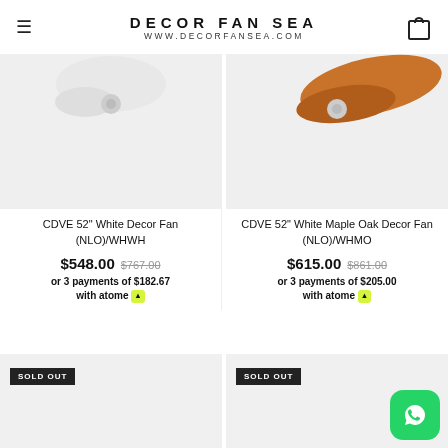DECOR FAN SEA
WWW.DECORFANSEA.COM
[Figure (photo): Product image: ceiling fan partial view, white blades on light gray background]
[Figure (photo): Product image: ceiling fan partial view, maple oak/brown blades on light gray background]
CDVE 52" White Decor Fan (NLO)/WHWH
$548.00  $767.00
or 3 payments of $182.67 with atome
CDVE 52" White Maple Oak Decor Fan (NLO)/WHMO
$615.00  $861.00
or 3 payments of $205.00 with atome
[Figure (photo): Product image bottom left, SOLD OUT badge, light gray background]
[Figure (photo): Product image bottom right, SOLD OUT badge, light gray background]